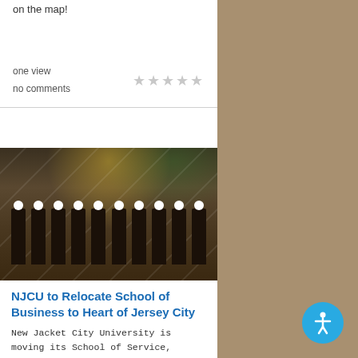on the map!
one view
no comments
[Figure (photo): Group of people wearing hard hats at a construction/groundbreaking ceremony inside a building under construction, with balloons visible in the background]
NJCU to Relocate School of Business to Heart of Jersey City
New Jacket City University is moving its School of Service, established in 2013, from its major university to the heart of Jersey City's financial district. It's slated to be open in September 2015. Don't neglect [More]